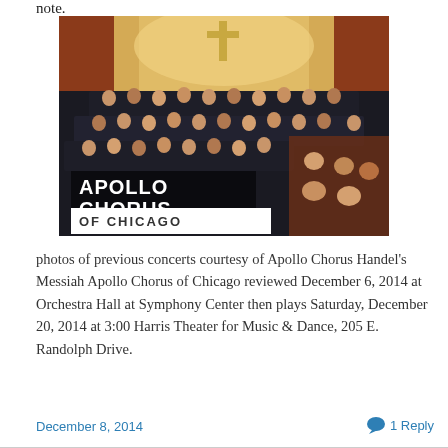note.
[Figure (photo): Apollo Chorus of Chicago choir performing in an ornate church/concert hall. Large choral group in black robes on risers with golden altar in background. Overlay text reads 'APOLLO CHORUS OF CHICAGO'.]
photos of previous concerts courtesy of Apollo Chorus Handel's Messiah Apollo Chorus of Chicago reviewed December 6, 2014 at Orchestra Hall at Symphony Center then plays Saturday, December 20, 2014 at 3:00 Harris Theater for Music & Dance, 205 E. Randolph Drive.
December 8, 2014    1 Reply